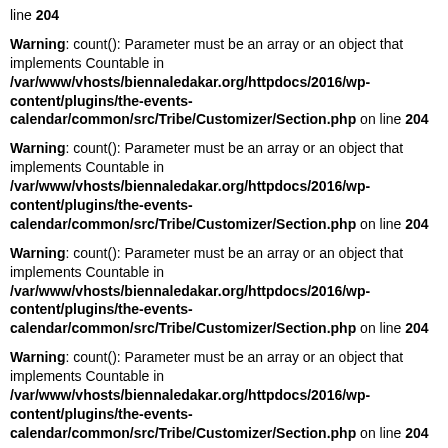line 204
Warning: count(): Parameter must be an array or an object that implements Countable in /var/www/vhosts/biennaledakar.org/httpdocs/2016/wp-content/plugins/the-events-calendar/common/src/Tribe/Customizer/Section.php on line 204
Warning: count(): Parameter must be an array or an object that implements Countable in /var/www/vhosts/biennaledakar.org/httpdocs/2016/wp-content/plugins/the-events-calendar/common/src/Tribe/Customizer/Section.php on line 204
Warning: count(): Parameter must be an array or an object that implements Countable in /var/www/vhosts/biennaledakar.org/httpdocs/2016/wp-content/plugins/the-events-calendar/common/src/Tribe/Customizer/Section.php on line 204
Warning: count(): Parameter must be an array or an object that implements Countable in /var/www/vhosts/biennaledakar.org/httpdocs/2016/wp-content/plugins/the-events-calendar/common/src/Tribe/Customizer/Section.php on line 204
Warning: count(): Parameter must be an array or an object that implements Countable in /var/www/vhosts/biennaledakar.org/httpdocs/2016/wp-...